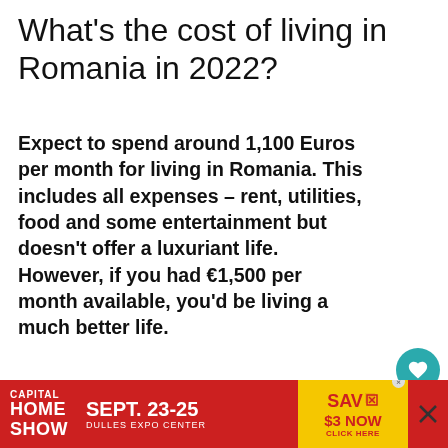What's the cost of living in Romania in 2022?
Expect to spend around 1,100 Euros per month for living in Romania. This includes all expenses – rent, utilities, food and some entertainment but doesn't offer a luxuriant life. However, if you had €1,500 per month available, you'd be living a much better life.
In my opinion, there are two major expenses when it comes to monthly costs. ren...
[Figure (other): Advertisement banner for Capital Home Show, Sept. 23-25, Dulles Expo Center, Save $3 Now - Click Here]